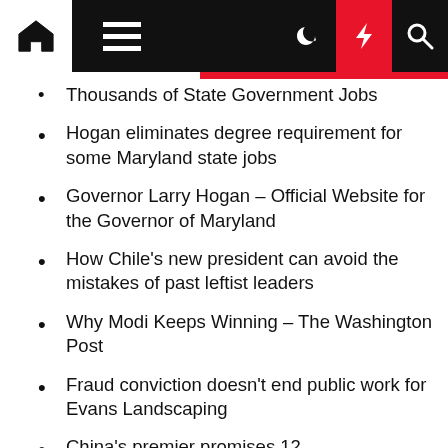Navigation bar with home, menu, moon, bolt, and search icons
Thousands of State Government Jobs
Hogan eliminates degree requirement for some Maryland state jobs
Governor Larry Hogan - Official Website for the Governor of Maryland
How Chile's new president can avoid the mistakes of past leftist leaders
Why Modi Keeps Winning - The Washington Post
Fraud conviction doesn't end public work for Evans Landscaping
China's premier promises 12